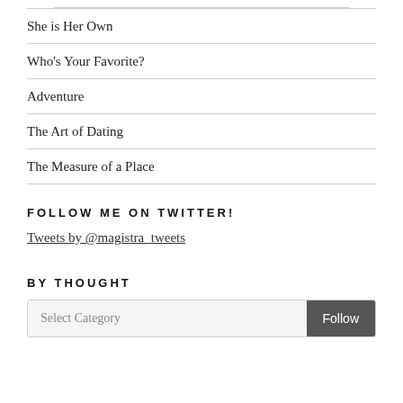She is Her Own
Who's Your Favorite?
Adventure
The Art of Dating
The Measure of a Place
FOLLOW ME ON TWITTER!
Tweets by @magistra_tweets
BY THOUGHT
Select Category